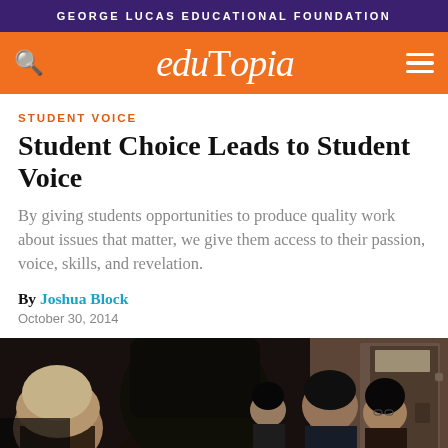GEORGE LUCAS EDUCATIONAL FOUNDATION
[Figure (logo): Edutopia orange navigation bar with search icon, Edutopia logo in white italic serif font, and hamburger menu icon]
STUDENT VOICE
Student Choice Leads to Student Voice
By giving students opportunities to produce quality work about issues that matter, we give them access to their passion, voice, skills, and revelation.
By Joshua Block
October 30, 2014
[Figure (photo): Classroom photo showing several students and an adult, taken indoors with a door visible in the background, in black and white or dark tones]